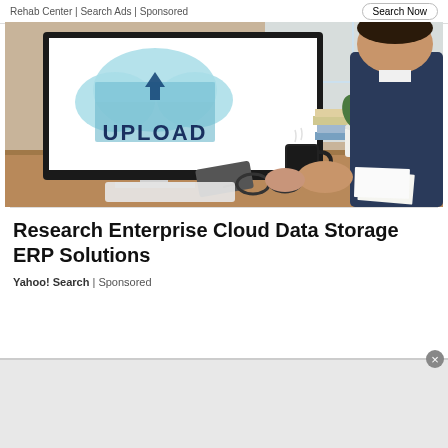Rehab Center | Search Ads | Sponsored
[Figure (photo): A businessman in a suit viewed from behind, sitting at a desk and typing on a keyboard. On the desk is an iMac-style monitor displaying a cloud upload graphic with the word 'UPLOAD' in bold letters. Also on the desk are glasses, a wallet, a black mug, books, papers, and small potted plants near a bright window.]
Research Enterprise Cloud Data Storage ERP Solutions
Yahoo! Search | Sponsored